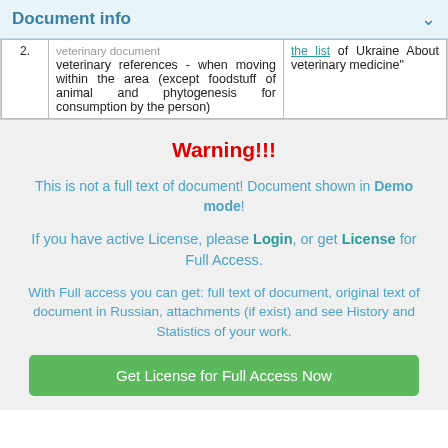Document info
|  | veterinary document / veterinary references - when moving within the area (except foodstuff of animal and phytogenesis for consumption by the person) | the list of Ukraine about veterinary medicine |
| --- | --- | --- |
|  | veterinary references - when moving within the area (except foodstuff of animal and phytogenesis for consumption by the person) | the list of Ukraine about veterinary medicine" |
Warning!!!
This is not a full text of document! Document shown in Demo mode!
If you have active License, please Login, or get License for Full Access.
With Full access you can get: full text of document, original text of document in Russian, attachments (if exist) and see History and Statistics of your work.
Get License for Full Access Now